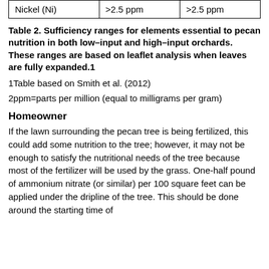| Nickel (Ni) | >2.5 ppm | >2.5 ppm |
Table 2. Sufficiency ranges for elements essential to pecan nutrition in both low–input and high–input orchards. These ranges are based on leaflet analysis when leaves are fully expanded.1
1Table based on Smith et al. (2012)
2ppm=parts per million (equal to milligrams per gram)
Homeowner
If the lawn surrounding the pecan tree is being fertilized, this could add some nutrition to the tree; however, it may not be enough to satisfy the nutritional needs of the tree because most of the fertilizer will be used by the grass. One-half pound of ammonium nitrate (or similar) per 100 square feet can be applied under the dripline of the tree. This should be done around the starting time of